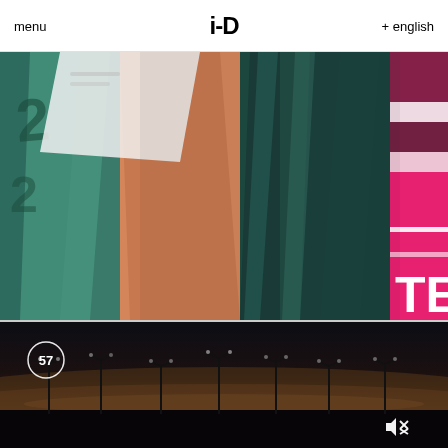menu   i-D   + english
[Figure (photo): Close-up fashion photograph showing teal/green glittery nail art, orange skin, dark teal hair streaks, and a partial pink sign with letters 'TE' on the right side]
The GUi-DE: Yeezy Gap, Halsey's make-up and Britain's
[Figure (screenshot): Dark video thumbnail showing silhouettes of street light poles against a twilight/sunset sky. A circular timer showing '57' is visible in the top-left and a mute icon is in the bottom-right corner.]